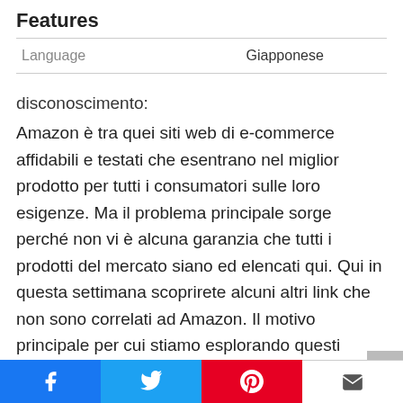Features
| Language | Giapponese |
| --- | --- |
disconoscimento:
Amazon è tra quei siti web di e-commerce affidabili e testati che esentrano nel miglior prodotto per tutti i consumatori sulle loro esigenze. Ma il problema principale sorge perché non vi è alcuna garanzia che tutti i prodotti del mercato siano ed elencati qui. Qui in questa settimana scoprirete alcuni altri link che non sono correlati ad Amazon. Il motivo principale per cui stiamo esplorando questi Tokyo Ghoul Re qui perché vogliamo che tu abbia
Facebook Twitter Pinterest Mail